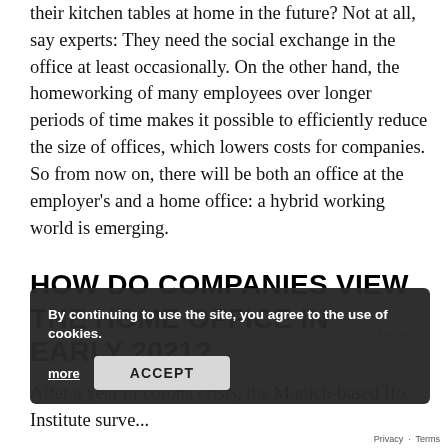their kitchen tables at home in the future? Not at all, say experts: They need the social exchange in the office at least occasionally. On the other hand, the homeworking of many employees over longer periods of time makes it possible to efficiently reduce the size of offices, which lowers costs for companies. So from now on, there will be both an office at the employer's and a home office: a hybrid working world is emerging.
HOW DO COMPANIES VIEW THE HOME OFFICE IN EARLY 2021?
After a year of corona crisis, the Munich-based Ifo Institute surv... home office and hy...d w... them believe megatrend has begun in which they want to participat...